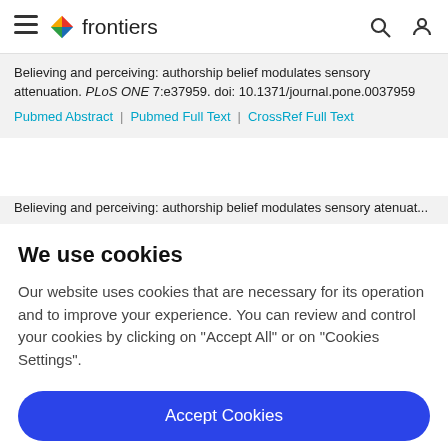frontiers
Believing and perceiving: authorship belief modulates sensory attenuation. PLoS ONE 7:e37959. doi: 10.1371/journal.pone.0037959
Pubmed Abstract | Pubmed Full Text | CrossRef Full Text
We use cookies
Our website uses cookies that are necessary for its operation and to improve your experience. You can review and control your cookies by clicking on "Accept All" or on "Cookies Settings".
Accept Cookies
Cookies Settings